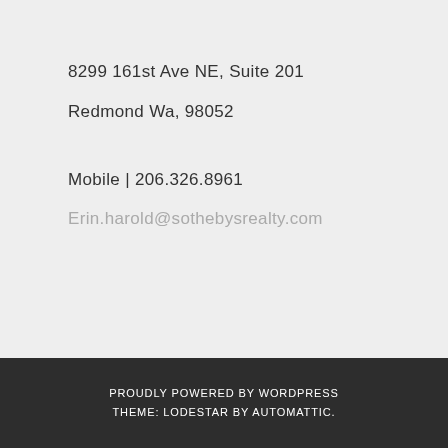8299 161st Ave NE, Suite 201
Redmond Wa, 98052
Mobile | 206.326.8961
Erin.harold@sothebysrealty.com
PROUDLY POWERED BY WORDPRESS THEME: LODESTAR BY AUTOMATTIC.